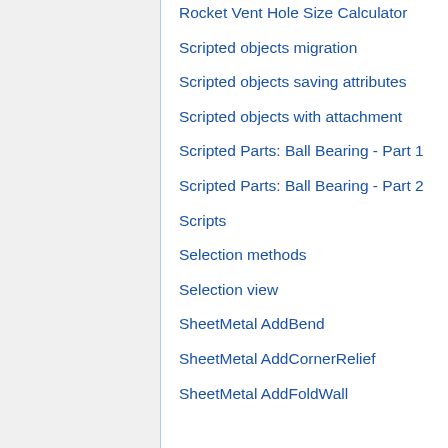Rocket Vent Hole Size Calculator
Scripted objects migration
Scripted objects saving attributes
Scripted objects with attachment
Scripted Parts: Ball Bearing - Part 1
Scripted Parts: Ball Bearing - Part 2
Scripts
Selection methods
Selection view
SheetMetal AddBend
SheetMetal AddCornerRelief
SheetMetal AddFoldWall